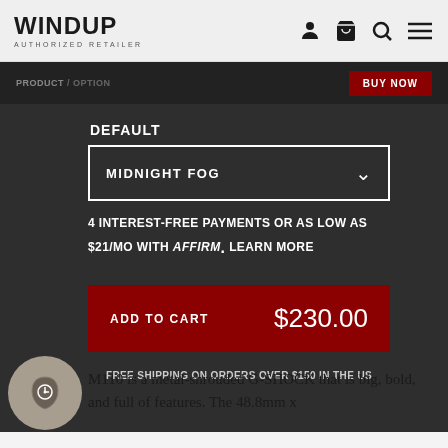WINDUP AUTHORIZED RETAILER
DEFAULT
MIDNIGHT FOG
4 INTEREST-FREE PAYMENTS OR AS LOW AS $21/MO WITH affirm. LEARN MORE
ADD TO CART $230.00
FREE SHIPPING ON ORDERS OVER $150 IN THE US
M110 is a metal-shrouded G-SHOCK that is big, bold, and full of features. The 48.8mm x